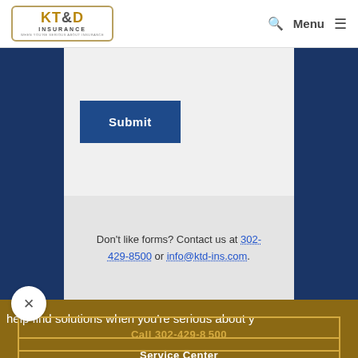KT&D Insurance — Menu
[Figure (screenshot): Submit button (dark blue) on light gray background]
Don't like forms? Contact us at 302-429-8500 or info@ktd-ins.com.
help find solutions when you're serious about y
Service Center
Call 302-429-8500